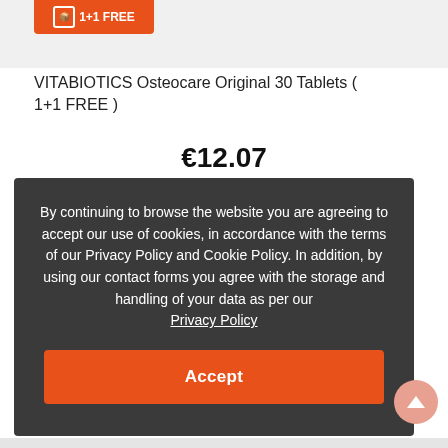[Figure (photo): Product image area with orange 1+1 FREE badge at top, light gray background]
VITABIOTICS Osteocare Original 30 Tablets ( 1+1 FREE )
€12.07
By continuing to browse the website you are agreeing to accept our use of cookies, in accordance with the terms of our Privacy Policy and Cookie Policy. In addition, by using our contact forms you agree with the storage and handling of your data as per our Privacy Policy
Accept